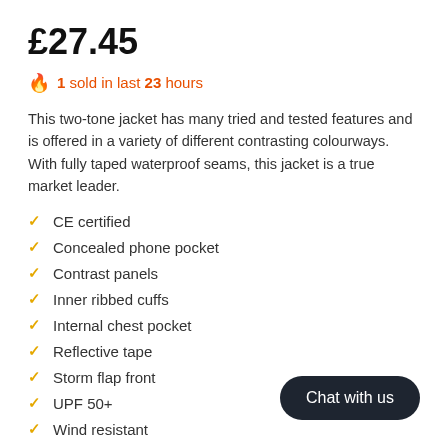£27.45
🔥 1 sold in last 23 hours
This two-tone jacket has many tried and tested features and is offered in a variety of different contrasting colourways. With fully taped waterproof seams, this jacket is a true market leader.
CE certified
Concealed phone pocket
Contrast panels
Inner ribbed cuffs
Internal chest pocket
Reflective tape
Storm flap front
UPF 50+
Wind resistant
Two-way zipper
Chat with us